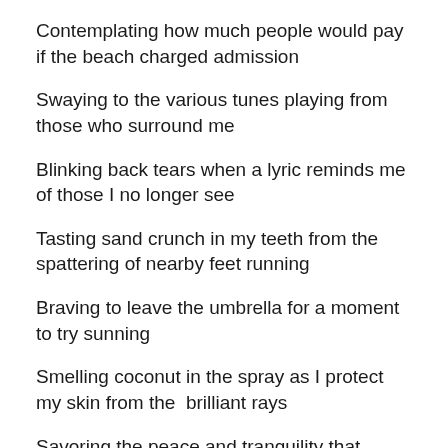Contemplating how much people would pay if the beach charged admission
Swaying to the various tunes playing from those who surround me
Blinking back tears when a lyric reminds me of those I no longer see
Tasting sand crunch in my teeth from the spattering of nearby feet running
Braving to leave the umbrella for a moment to try sunning
Smelling coconut in the spray as I protect my skin from the  brilliant rays
Savoring the peace and tranquility that comes with this day